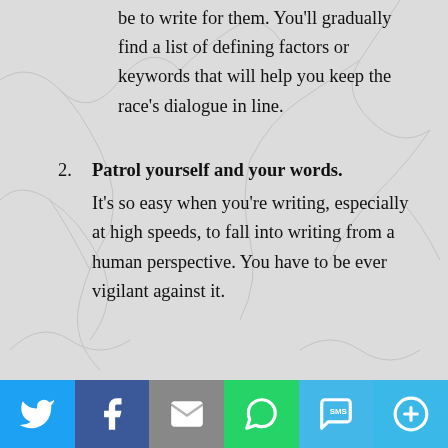be to write for them. You'll gradually find a list of defining factors or keywords that will help you keep the race's dialogue in line.
2. Patrol yourself and your words. It's so easy when you're writing, especially at high speeds, to fall into writing from a human perspective. You have to be ever vigilant against it.
Social share bar: Twitter, Facebook, Email, WhatsApp, SMS, More